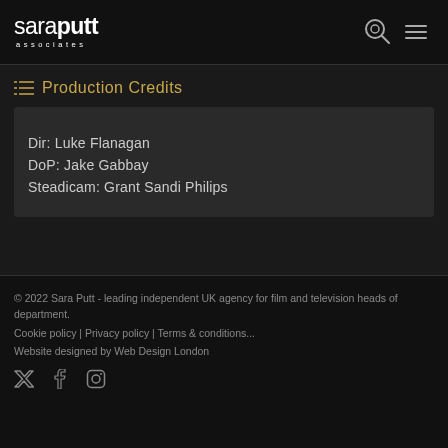saraputt associates
Production Credits
Dir: Luke Flanagan
DoP: Jake Gabbay
Steadicam: Grant Sandi Philips
© 2022 Sara Putt - leading independent UK agency for film and television heads of department.
Cookie policy | Privacy policy | Terms & conditions...
Website designed by Web Design London